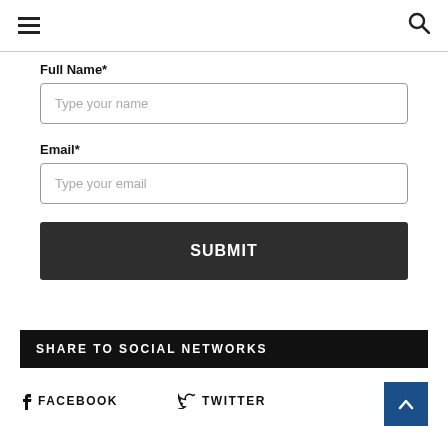≡  🔍
Full Name*
Type your name
Email*
Type your email
SUBMIT
SHARE TO SOCIAL NETWORKS
f  FACEBOOK
𝕏  TWITTER